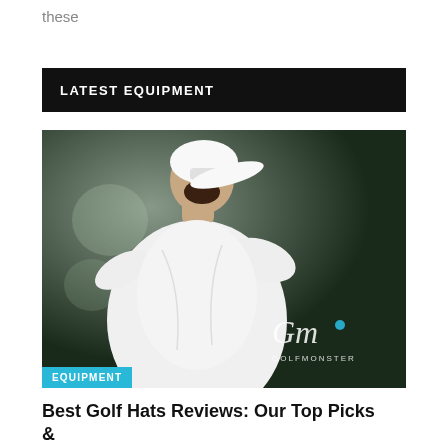these
LATEST EQUIPMENT
[Figure (photo): A golfer wearing a white cap and white polo shirt mid-swing, photographed from behind, with a dark blurred background. A GolfMonster watermark logo appears in the bottom right corner.]
EQUIPMENT
Best Golf Hats Reviews: Our Top Picks &